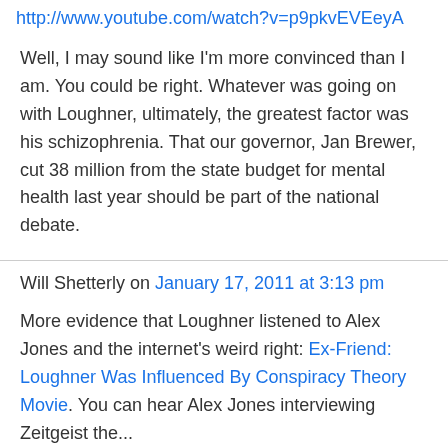http://www.youtube.com/watch?v=p9pkvEVEeyA
Well, I may sound like I'm more convinced than I am. You could be right. Whatever was going on with Loughner, ultimately, the greatest factor was his schizophrenia. That our governor, Jan Brewer, cut 38 million from the state budget for mental health last year should be part of the national debate.
Will Shetterly on January 17, 2011 at 3:13 pm
More evidence that Loughner listened to Alex Jones and the internet's weird right: Ex-Friend: Loughner Was Influenced By Conspiracy Theory Movie. You can hear Alex Jones interviewing Zeitgeist the...